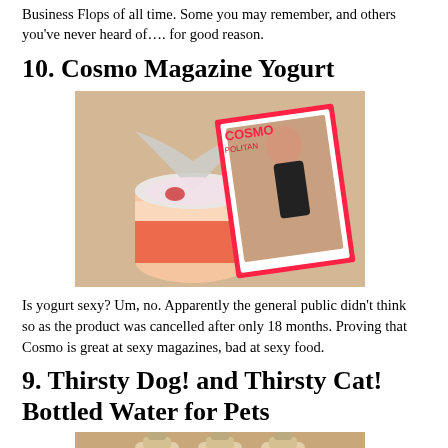Business Flops of all time. Some you may remember, and others you've never heard of…. for good reason.
10.  Cosmo Magazine Yogurt
[Figure (photo): A cup of strawberry yogurt with its foil lid peeled back, a spoon beside it, and a Cosmopolitan magazine leaning against it in the background, all on a tan surface.]
Is yogurt sexy?  Um, no.  Apparently the general public didn't think so as the product was cancelled after only 18 months. Proving that Cosmo is great at sexy magazines, bad at sexy food.
9.  Thirsty Dog! and Thirsty Cat! Bottled Water for Pets
[Figure (photo): Three bottles of Thirsty Dog!/Thirsty Cat! branded bottled water for pets, shown from the front.]